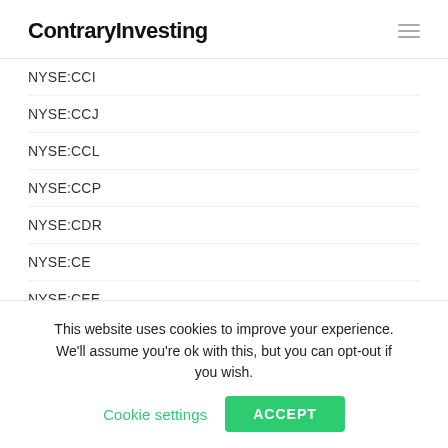ContraryInvesting
NYSE:CCI
NYSE:CCJ
NYSE:CCL
NYSE:CCP
NYSE:CDR
NYSE:CE
NYSE:CEE
NYSE:CEFL
NYSE:CEM
This website uses cookies to improve your experience. We'll assume you're ok with this, but you can opt-out if you wish. Cookie settings ACCEPT